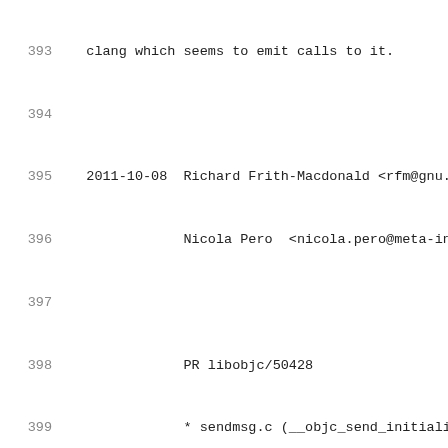393   clang which seems to emit calls to it.
394
395   2011-10-08  Richard Frith-Macdonald <rfm@gnu.or
396               Nicola Pero  <nicola.pero@meta-inno
397
398               PR libobjc/50428
399               * sendmsg.c (__objc_send_initialize): I
400               +initialize method, search for an +init
401               superclass and in the ancestor classes
402               that is found.  This makes the GNU runt
403               as the Apple/NeXT runtime with respect
404               subclassing.
405
406   2011-08-06  Nicola Pero  <nicola.pero@meta-inno
407
408               PR libobjc/50002
409               * class.c (__objc_update_classes_with_m
410               classes as well as normal classes when
411               implementations.  This fixes replacing
412
413   2011-08-06  Nicola Pero  <nicola.pero@meta-inno
414